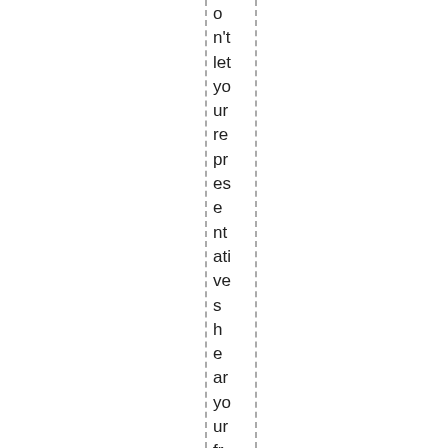o n't let yo ur re pr es e nt ati ve s h e ar yo ur fr us tr ati o n, th ey as su m e